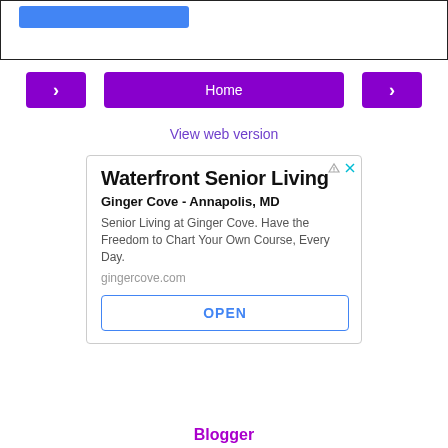[Figure (screenshot): Top area with blue button, bordered box (partial UI element)]
[Figure (screenshot): Navigation row with left arrow, Home button, right arrow, all in purple]
View web version
[Figure (other): Advertisement box: Waterfront Senior Living, Ginger Cove - Annapolis, MD. Senior Living at Ginger Cove. Have the Freedom to Chart Your Own Course, Every Day. gingercove.com. OPEN button.]
Blogger